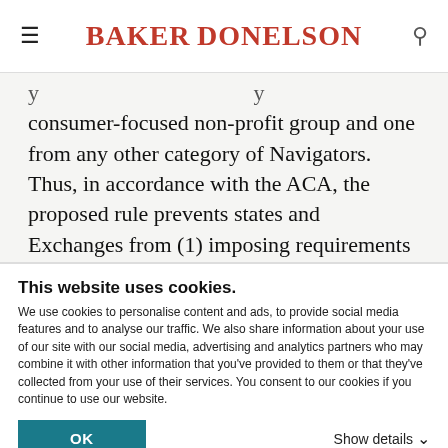BAKER DONELSON
consumer-focused non-profit group and one from any other category of Navigators. Thus, in accordance with the ACA, the proposed rule prevents states and Exchanges from (1) imposing requirements that would place all Navigators into a single category (i.e., that all Navigators be agents or brokers or obtain errors and omissions coverage); and (2) impeding Navigators' ability...
This website uses cookies.
We use cookies to personalise content and ads, to provide social media features and to analyse our traffic. We also share information about your use of our site with our social media, advertising and analytics partners who may combine it with other information that you've provided to them or that they've collected from your use of their services. You consent to our cookies if you continue to use our website.
OK   Show details